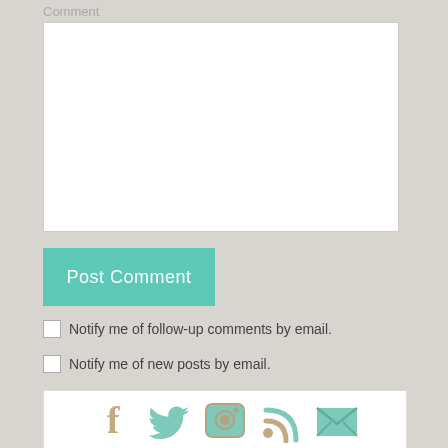Comment
[Figure (screenshot): Comment textarea input box]
[Figure (screenshot): Post Comment button in teal/turquoise color]
Notify me of follow-up comments by email.
Notify me of new posts by email.
[Figure (infographic): Social media icons row: Facebook, Twitter, Instagram, RSS, Email]